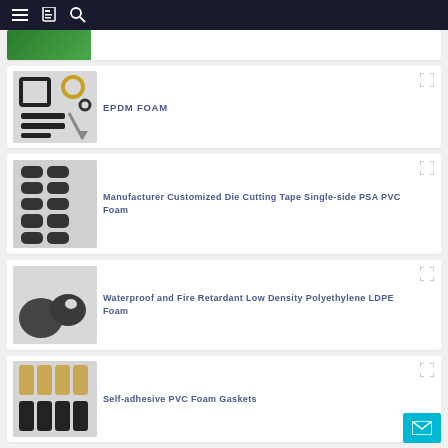Navigation bar with menu, catalog, and search icons
[Figure (photo): Partial view of a green product at top of page]
[Figure (photo): EPDM foam product showing black square gaskets, rings, and strips on white background]
EPDM FOAM
[Figure (photo): Dark gray die-cut foam pads arranged in rows on white background]
Manufacturer Customized Die Cutting Tape Single-side PSA PVC Foam
[Figure (photo): Dark gray irregular shaped LDPE foam pieces on white background]
Waterproof and Fire Retardant Low Density Polyethylene LDPE Foam
[Figure (photo): Black and tan/beige self-adhesive PVC foam gasket strips on white background]
Self-adhesive PVC Foam Gaskets